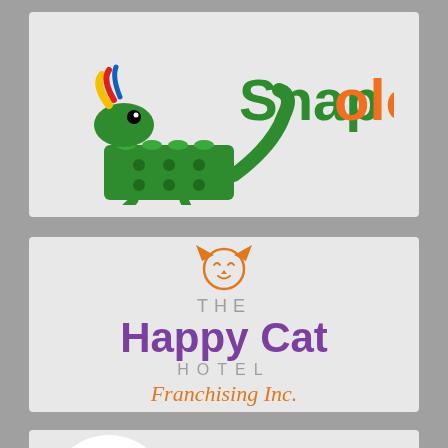[Figure (logo): Snapology logo with green gecko/lizard mascot on LEGO bricks and colorful 'Snapology' text in green and orange]
[Figure (logo): The Happy Cat Hotel Franchising Inc. logo with orange cat face icon, purple 'Happy Cat' text, gray 'THE' and 'HOTEL' text, and orange italic 'Franchising Inc.']
[Figure (logo): Angel's Five-Star Pet Care, LLC logo with circular badge showing two pets and angel wings, with red bold text 'ANGEL'S FIVE-STAR PET CARE, LLC']